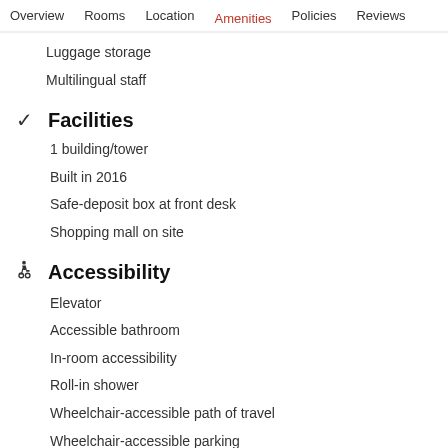Overview  Rooms  Location  Amenities  Policies  Reviews
Luggage storage
Multilingual staff
✓ Facilities
1 building/tower
Built in 2016
Safe-deposit box at front desk
Shopping mall on site
♿ Accessibility
Elevator
Accessible bathroom
In-room accessibility
Roll-in shower
Wheelchair-accessible path of travel
Wheelchair-accessible parking
Wheelchair-accessible path to elevator